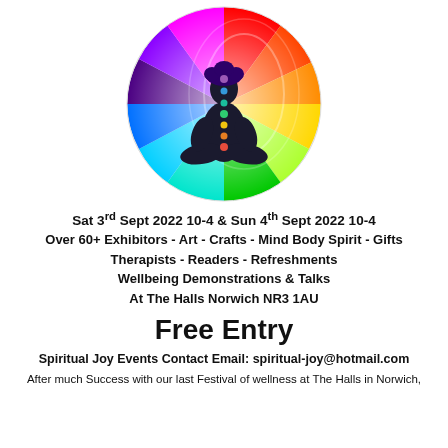[Figure (illustration): Circular rainbow/chakra mandala with a dark silhouette of a person sitting in lotus meditation pose, with colored chakra dots along the body center, set against a radiating multicolor background.]
Sat 3rd Sept 2022 10-4  & Sun 4th Sept 2022 10-4
Over 60+ Exhibitors - Art - Crafts - Mind Body Spirit - Gifts
Therapists - Readers - Refreshments
Wellbeing Demonstrations & Talks
At The Halls Norwich NR3 1AU
Free Entry
Spiritual Joy Events Contact Email: spiritual-joy@hotmail.com
After much Success with our last Festival of wellness at The Halls in Norwich,